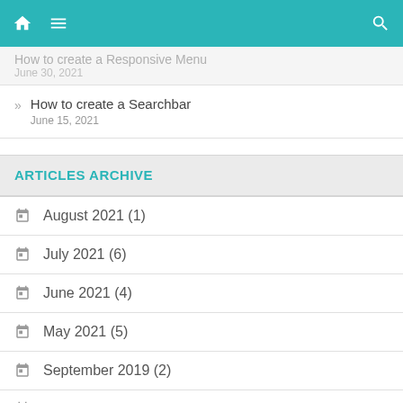Navigation bar with home, menu, and search icons
How to create a Responsive Menu
June 30, 2021
How to create a Searchbar
June 15, 2021
ARTICLES ARCHIVE
August 2021 (1)
July 2021 (6)
June 2021 (4)
May 2021 (5)
September 2019 (2)
May 2019 (1)
April 2019 (1)